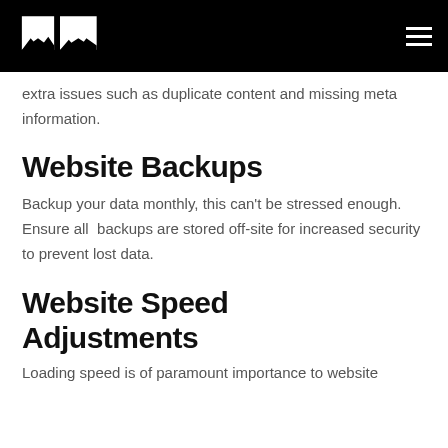[Logo] [hamburger menu]
extra issues such as duplicate content and missing meta information.
Website Backups
Backup your data monthly, this can't be stressed enough. Ensure all  backups are stored off-site for increased security to prevent lost data.
Website Speed Adjustments
Loading speed is of paramount importance to website